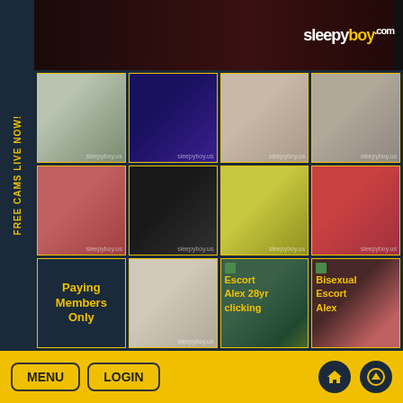[Figure (screenshot): sleepyboy.com website screenshot showing a grid of adult video thumbnails with 'Paying Members Only' text on one tile, and escort listing overlays on bottom tiles]
FREE CAMS LIVE NOW!
Chatrooms o
Paying Members Only
Escort Alex 28yr clicking
Bisexual Escort Alex
MENU  LOGIN